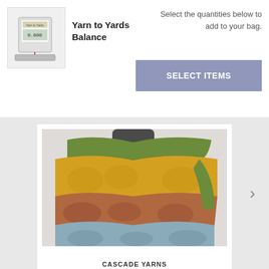[Figure (photo): Small product image of a Yarn to Yards Balance device — a white/silver boxy scale with yarn and cables.]
Yarn to Yards Balance
Select the quantities below to add to your bag.
SELECT ITEMS
[Figure (photo): A colorful knitted lace shawl displayed on a dark mannequin bust against a white brick wall. The shawl features horizontal bands of green, yellow, rust/brown, and gray-blue lace knit in a fan/shell pattern.]
CASCADE YARNS